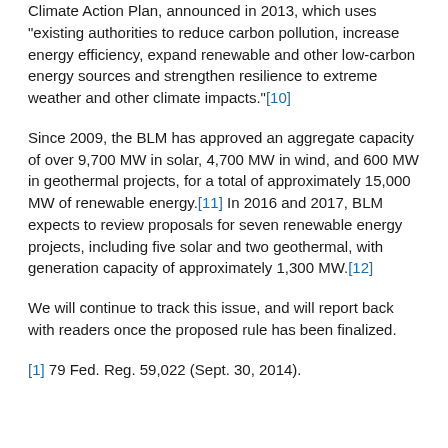Climate Action Plan, announced in 2013, which uses "existing authorities to reduce carbon pollution, increase energy efficiency, expand renewable and other low-carbon energy sources and strengthen resilience to extreme weather and other climate impacts."[10]
Since 2009, the BLM has approved an aggregate capacity of over 9,700 MW in solar, 4,700 MW in wind, and 600 MW in geothermal projects, for a total of approximately 15,000 MW of renewable energy.[11] In 2016 and 2017, BLM expects to review proposals for seven renewable energy projects, including five solar and two geothermal, with generation capacity of approximately 1,300 MW.[12]
We will continue to track this issue, and will report back with readers once the proposed rule has been finalized.
[1] 79 Fed. Reg. 59,022 (Sept. 30, 2014).